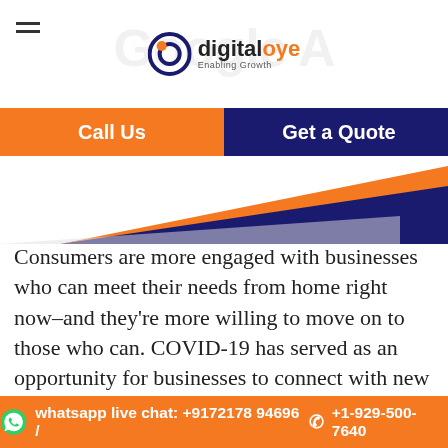digitaloye - Enabling Growth
[Figure (logo): DigitalOye logo with circular icon and tagline 'Enabling Growth']
[Figure (infographic): Rising triangle/wedge graphic in orange and navy blue suggesting growth]
Consumers are more engaged with businesses who can meet their needs from home right now–and they're more willing to move on to those who can. COVID-19 has served as an opportunity for businesses to connect with new customers digitally, but it's also a challenge—especially if you are dealing with changes in your daily operations or bandwidth limitations that may have slowed you down. That is where online visibility helps your business to sustain and Google Ads aptly
whatsapp live chat: +9172178 94696 / +1-929-500-7640